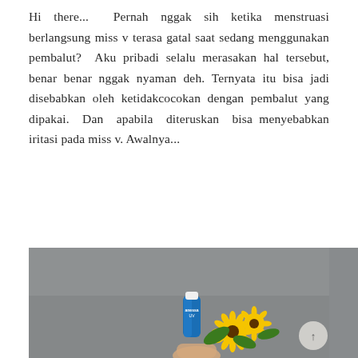Hi there... Pernah nggak sih ketika menstruasi berlangsung miss v terasa gatal saat sedang menggunakan pembalut? Aku pribadi selalu merasakan hal tersebut, benar benar nggak nyaman deh. Ternyata itu bisa jadi disebabkan oleh ketidakcocokan dengan pembalut yang dipakai. Dan apabila diteruskan bisa menyebabkan iritasi pada miss v. Awalnya...
CONTINUE READING
[Figure (photo): A hand holding a small blue tube of sunscreen product (labeled UV), with yellow sunflowers arranged next to it, against a gray textured background.]